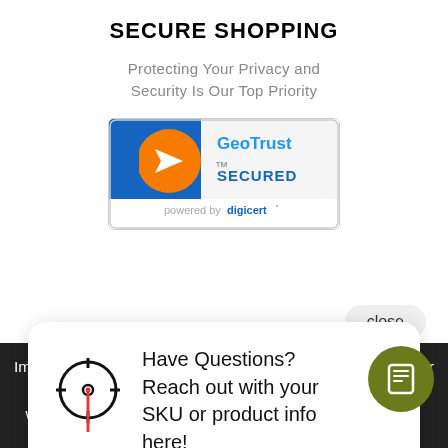SECURE SHOPPING
Protecting Your Privacy and Security Is Our Top Priority
[Figure (logo): GeoTrust SECURED powered by digicert badge/logo]
close
Have Questions? Reach out with your SKU or product info here!
Impact Guns is the gun shop for all your shooting needs. We offer a wide selection of firearms, including: handguns, shotguns, rifles, ammunition, rifle scopes and optics, as well as collectible machine guns and other NFA/Class 3 guns. Impact also services the needs of